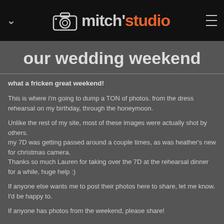mitch'studio
our wedding weekend
what a fricken great weekend!
This is where i'm going to dump a TON of photos. from the dress rehearsal on my birthday, through the honeymoon.
Unlike the rest of my site, most of these images were actually shot by others.
my 7D was getting passed around a couple times, as was heather's new for christmas camera.
Thanks so much Lauren for taking over the 7D at the rehearsal dinner for a while, huge help :)
If anyone else wants me to post their photos here to share, let me know. I'd be happy to.
If anyone has photos from the weekend, please share!